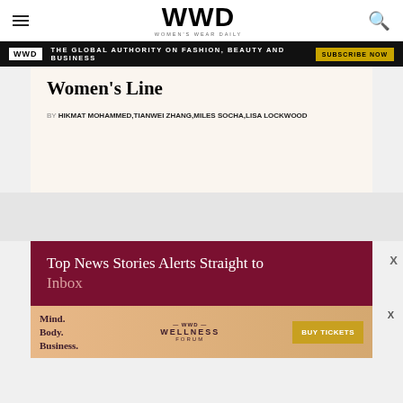WWD WOMEN'S WEAR DAILY
THE GLOBAL AUTHORITY ON FASHION, BEAUTY AND BUSINESS SUBSCRIBE NOW
Women's Line
BY HIKMAT MOHAMMED,TIANWEI ZHANG,MILES SOCHA,LISA LOCKWOOD
Top News Stories Alerts Straight to Inbox
[Figure (infographic): WWD Wellness Forum advertisement with Mind. Body. Business. text and BUY TICKETS button]